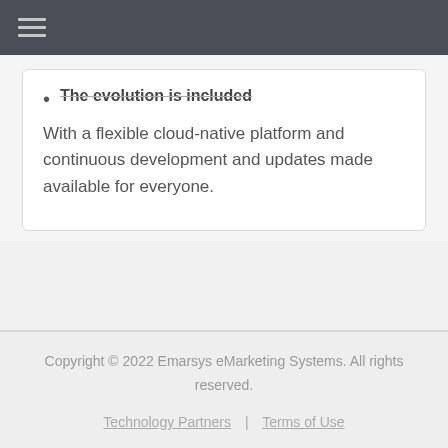The evolution is included
With a flexible cloud-native platform and continuous development and updates made available for everyone.
Copyright © 2022 Emarsys eMarketing Systems. All rights reserved.
Technology Partners | Terms of Use